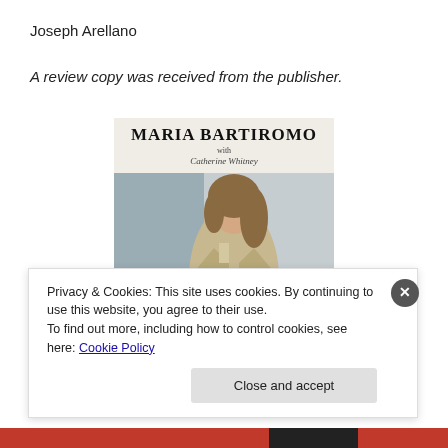Joseph Arellano
A review copy was received from the publisher.
[Figure (photo): Book cover of 'The Weekend' by Maria Bartiromo with Catherine Whitney. Cover shows woman in beige coat standing at a railing, with author name in large bold serif font at top and title in red italic serif font at bottom.]
Privacy & Cookies: This site uses cookies. By continuing to use this website, you agree to their use.
To find out more, including how to control cookies, see here: Cookie Policy
Close and accept